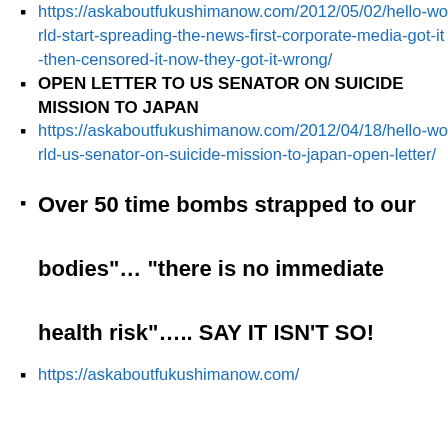https://askaboutfukushimanow.com/2012/05/02/hello-world-start-spreading-the-news-first-corporate-media-got-it-then-censored-it-now-they-got-it-wrong/
OPEN LETTER TO US SENATOR ON SUICIDE MISSION TO JAPAN
https://askaboutfukushimanow.com/2012/04/18/hello-world-us-senator-on-suicide-mission-to-japan-open-letter/
Over 50 time bombs strapped to our bodies"… "there is no immediate health risk"….. SAY IT ISN'T SO!
https://askaboutfukushimanow.com/...